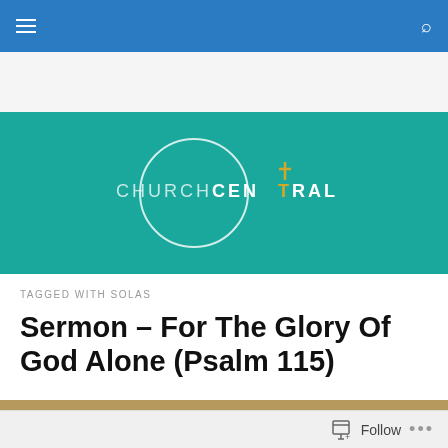Church Central navigation bar
[Figure (logo): Church Central logo: circle outline with 'CHURCH CENTRAL' text on teal background, cross symbol replacing the 'T' in CENTRAL in gold color]
TAGGED WITH SOLAS
Sermon – For The Glory Of God Alone (Psalm 115)
[Figure (photo): Partial view of what appears to be an ancient manuscript or Bible text]
Follow